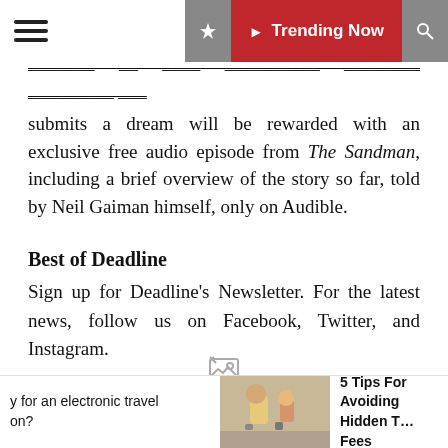☰  ◁  Trending Now  🔍
logged in their customized account. Everyone who submits a dream will be rewarded with an exclusive free audio episode from The Sandman, including a brief overview of the story so far, told by Neil Gaiman himself, only on Audible.
Best of Deadline
Sign up for Deadline's Newsletter. For the latest news, follow us on Facebook, Twitter, and Instagram.
[Figure (other): Broken image placeholder icon]
Source Article
▶  Posted in  Recreation
y for an electronic travel on?
[Figure (photo): Photo of people with luggage at an airport or travel location]
5 Tips For Avoiding Hidden T… Fees